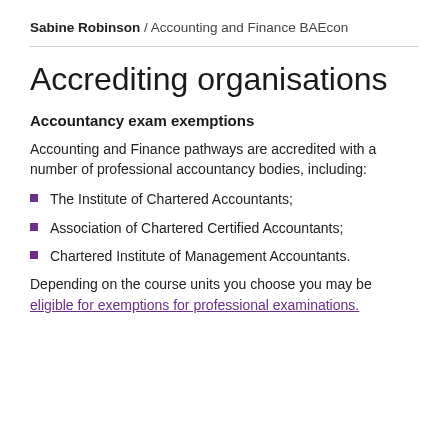Sabine Robinson / Accounting and Finance BAEcon
Accrediting organisations
Accountancy exam exemptions
Accounting and Finance pathways are accredited with a number of professional accountancy bodies, including:
The Institute of Chartered Accountants;
Association of Chartered Certified Accountants;
Chartered Institute of Management Accountants.
Depending on the course units you choose you may be eligible for exemptions for professional examinations.